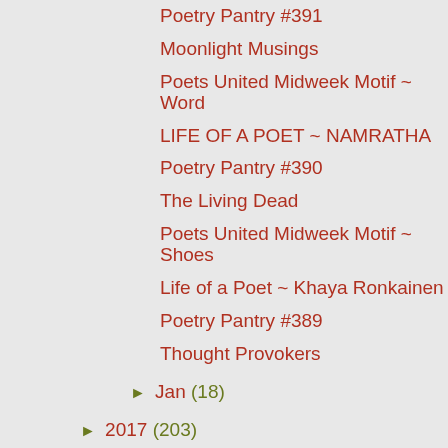Poetry Pantry #391
Moonlight Musings
Poets United Midweek Motif ~ Word
LIFE OF A POET ~ NAMRATHA
Poetry Pantry #390
The Living Dead
Poets United Midweek Motif ~ Shoes
Life of a Poet ~ Khaya Ronkainen
Poetry Pantry #389
Thought Provokers
► Jan (18)
► 2017 (203)
► 2016 (197)
► 2015 (202)